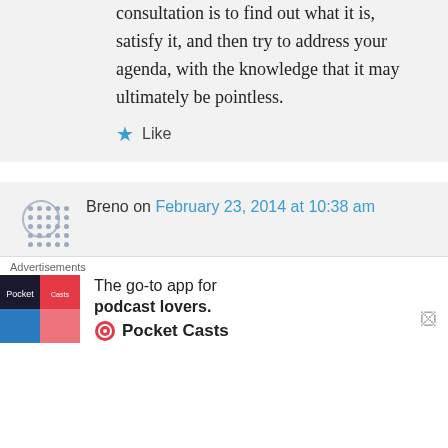consultation is to find out what it is, satisfy it, and then try to address your agenda, with the knowledge that it may ultimately be pointless.
Like
Breno on February 23, 2014 at 10:38 am
We are all dealing with our own demons – intelligence, finance, and position does not change this or protect you. With this in
Advertisements
The go-to app for podcast lovers.
Pocket Casts